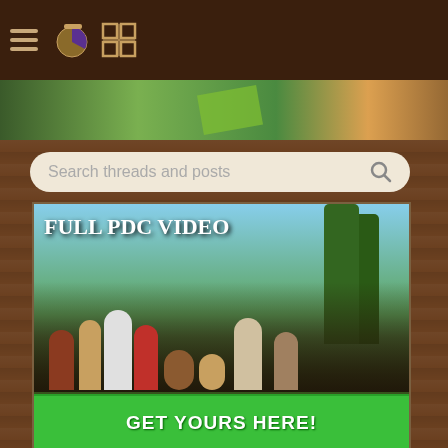Navigation bar with hamburger menu and icons
[Figure (screenshot): Search bar reading 'Search threads and posts' with magnifier icon]
[Figure (photo): Full PDC Video promotional banner with outdoor group photo and 'GET YOURS HERE!' green button]
this forum made possible by our volunteer staff, including ...
master stewards:
Register /
Best
21 replies
New guy!
2 replies
breastfeeding
35 replies
Hello world
1 reply
Farming homestead bu
89 replies [→□ 1,2,3]